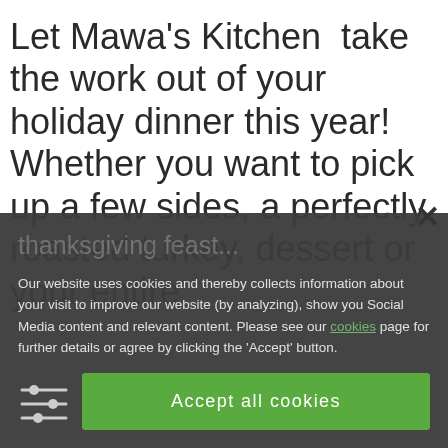Let Mawa's Kitchen  take the work out of your holiday dinner this year! Whether you want to pick up a few sides, a perfectly roasted turkey, dessert or your entire thanksgiving feast, we have you covered!
Our website uses cookies and thereby collects information about your visit to improve our website (by analyzing), show you Social Media content and relevant content. Please see our cookies page for further details or agree by clicking the 'Accept' button.
Accept all cookies